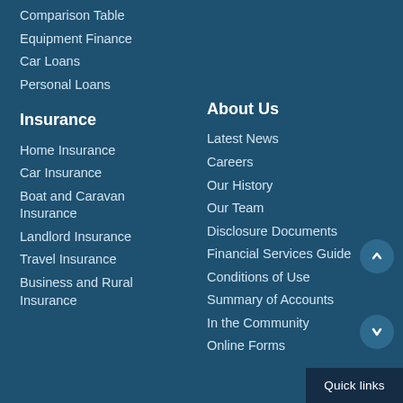Comparison Table
Equipment Finance
Car Loans
Personal Loans
Insurance
Home Insurance
Car Insurance
Boat and Caravan Insurance
Landlord Insurance
Travel Insurance
Business and Rural Insurance
About Us
Latest News
Careers
Our History
Our Team
Disclosure Documents
Financial Services Guide
Conditions of Use
Summary of Accounts
In the Community
Online Forms
Quick links